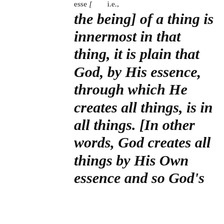esse [ i.e., the being] of a thing is innermost in that thing, it is plain that God, by His essence, through which He creates all things, is in all things. [In other words, God creates all things by His Own essence and so God's